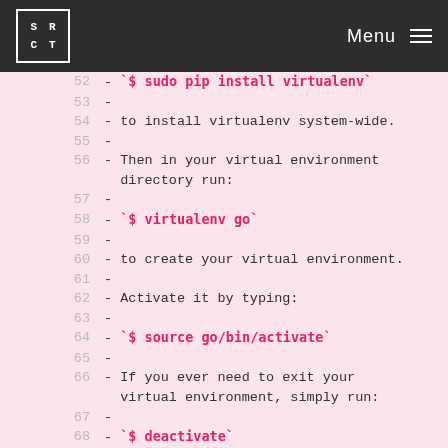SRCT Menu
52    - `$ sudo pip install virtualenv`
53    -
54    - to install virtualenv system-wide.
55    -
56    - Then in your virtual environment directory run:
57    -
58    - `$ virtualenv go`
59    -
60    - to create your virtual environment.
61    -
62    - Activate it by typing:
63    -
64    - `$ source go/bin/activate`
65    -
66    - If you ever need to exit your virtual environment, simply run:
67    -
68    - `$ deactivate`
69    -